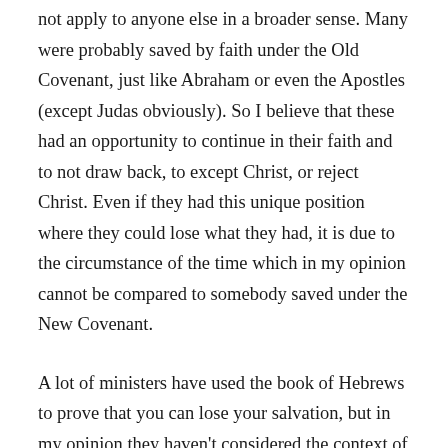not apply to anyone else in a broader sense. Many were probably saved by faith under the Old Covenant, just like Abraham or even the Apostles (except Judas obviously). So I believe that these had an opportunity to continue in their faith and to not draw back, to except Christ, or reject Christ. Even if they had this unique position where they could lose what they had, it is due to the circumstance of the time which in my opinion cannot be compared to somebody saved under the New Covenant.
A lot of ministers have used the book of Hebrews to prove that you can lose your salvation, but in my opinion they haven't considered the context of the book and uniqueness of the transitional period it is dealing with.